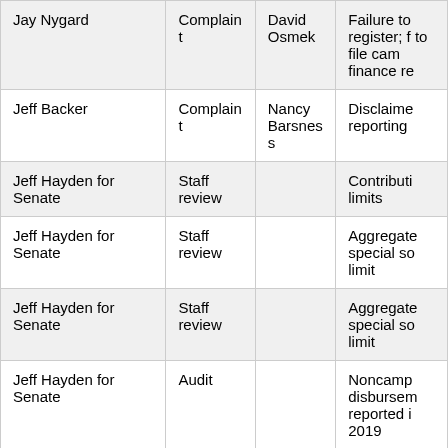| Name | Type | Complainant | Issue |
| --- | --- | --- | --- |
| Jay Nygard | Complaint | David Osmek | Failure to register; f to file cam finance re |
| Jeff Backer | Complaint | Nancy Barsness | Disclaime reporting |
| Jeff Hayden for Senate | Staff review |  | Contributi limits |
| Jeff Hayden for Senate | Staff review |  | Aggregate special so limit |
| Jeff Hayden for Senate | Staff review |  | Aggregate special so limit |
| Jeff Hayden for Senate | Audit |  | Noncamp disbursem reported i 2019 |
| Jen Kader for MN House | Staff review |  | Contributi from local candidate |
| Jennings (Adam) for State | Complaint | Rick Weible | Reportin |